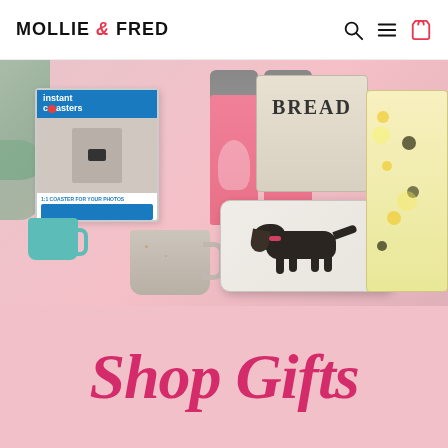MOLLIE & FRED
[Figure (photo): Hero banner showing various home gifts: instant coasters box, pink water bottles with squirrel decorations, a dachshund dog cushion, a bread bin, a floral bee oven glove, and a grey speckled mug on a pink background.]
Shop Gifts